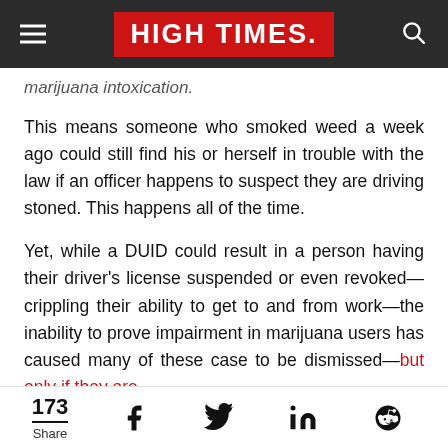HIGH TIMES
marijuana intoxication.
This means someone who smoked weed a week ago could still find his or herself in trouble with the law if an officer happens to suspect they are driving stoned. This happens all of the time.
Yet, while a DUID could result in a person having their driver's license suspended or even revoked—crippling their ability to get to and from work—the inability to prove impairment in marijuana users has caused many of these case to be dismissed—but only if they are
173 Share